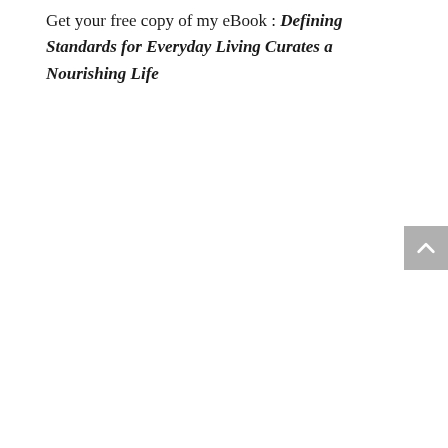Get your free copy of my eBook : Defining Standards for Everyday Living Curates a Nourishing Life